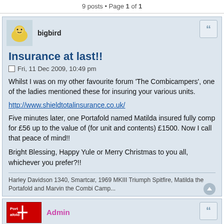9 posts • Page 1 of 1
bigbird
Insurance at last!!
Fri, 11 Dec 2009, 10:49 pm
Whilst I was on my other favourite forum 'The Combicampers', one of the ladies mentioned these for insuring your various units.
http://www.shieldtotalinsurance.co.uk/
Five minutes later, one Portafold named Matilda insured fully comp for £56 up to the value of (for unit and contents) £1500. Now I call that peace of mind!!
Bright Blessing, Happy Yule or Merry Christmas to you all, whichever you prefer?!!
Harley Davidson 1340, Smartcar, 1969 MKIII Triumph Spitfire, Matilda the Portafold and Marvin the Combi Camp...
Admin